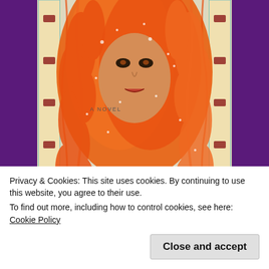[Figure (illustration): Book cover of 'The Witch and the...' novel featuring an orange illustrated face with flowing orange hair/foliage, decorative border with geometric patterns, title text 'THE WITCH AND THE...' in large dark letters, labeled 'A NOVEL' at top. Background is deep purple behind the book cover.]
Privacy & Cookies: This site uses cookies. By continuing to use this website, you agree to their use.
To find out more, including how to control cookies, see here: Cookie Policy
Close and accept